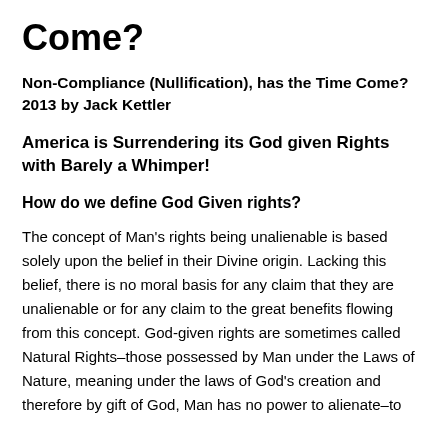Come?
Non-Compliance (Nullification), has the Time Come? 2013 by Jack Kettler
America is Surrendering its God given Rights with Barely a Whimper!
How do we define God Given rights?
The concept of Man's rights being unalienable is based solely upon the belief in their Divine origin. Lacking this belief, there is no moral basis for any claim that they are unalienable or for any claim to the great benefits flowing from this concept. God-given rights are sometimes called Natural Rights–those possessed by Man under the Laws of Nature, meaning under the laws of God's creation and therefore by gift of God, Man has no power to alienate–to